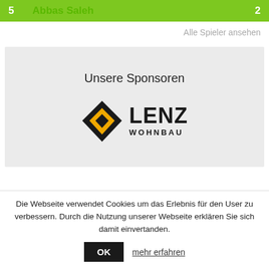| # | Name | Score |
| --- | --- | --- |
| 5 | Abbas Saleh | 2 |
Alle Spieler ansehen
Unsere Sponsoren
[Figure (logo): Lenz Wohnbau logo — diamond shape with yellow/orange fill and 'LENZ WOHNBAU' text]
Die Webseite verwendet Cookies um das Erlebnis für den User zu verbessern. Durch die Nutzung unserer Webseite erklären Sie sich damit einvertanden.
OK
mehr erfahren